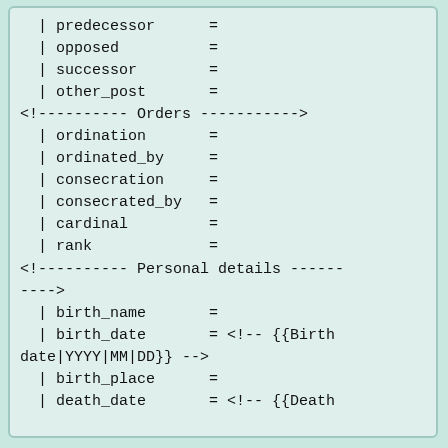| predecessor      =
| opposed          =
| successor        =
| other_post       =
<!---------- Orders ----------->
| ordination       =
| ordinated_by     =
| consecration     =
| consecrated_by   =
| cardinal         =
| rank             =
<!---------- Personal details ---------->
| birth_name       =
| birth_date       = <!-- {{Birth date|YYYY|MM|DD}} -->
| birth_place      =
| death_date       = <!-- {{Death